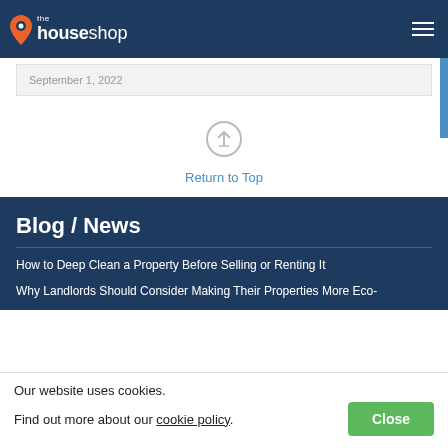the houseshop
September 1, 2022
Return to Top
Blog / News
How to Deep Clean a Property Before Selling or Renting It
Why Landlords Should Consider Making Their Properties More Eco-
Our website uses cookies. Find out more about our cookie policy. Close